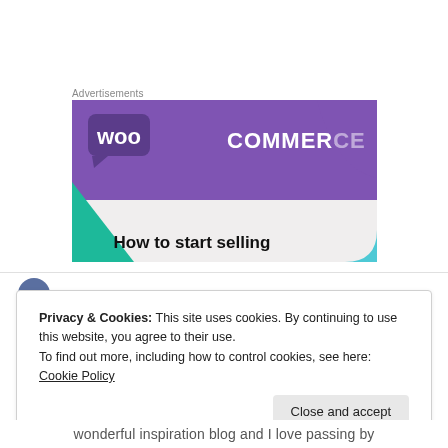Advertisements
[Figure (illustration): WooCommerce advertisement banner. Purple background with WooCommerce logo (woo in white speech bubble, COMMERCE in white text). Green and cyan triangle shapes decorating the corners. Text at bottom: 'How to start selling' in bold black on light grey background.]
Privacy & Cookies: This site uses cookies. By continuing to use this website, you agree to their use.
To find out more, including how to control cookies, see here: Cookie Policy
Close and accept
wonderful inspiration blog and I love passing by